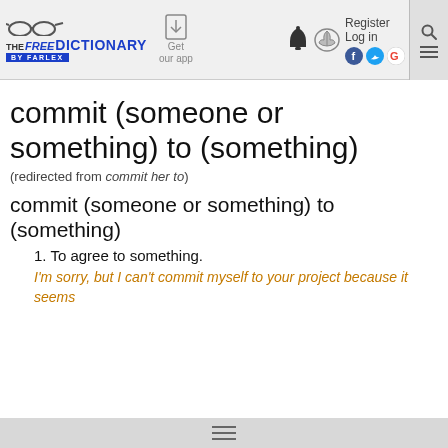THE FREE DICTIONARY BY FARLEX — Get our app — Register Log in
commit (someone or something) to (something)
(redirected from commit her to)
commit (someone or something) to (something)
1. To agree to something.
I'm sorry, but I can't commit myself to your project because it seems